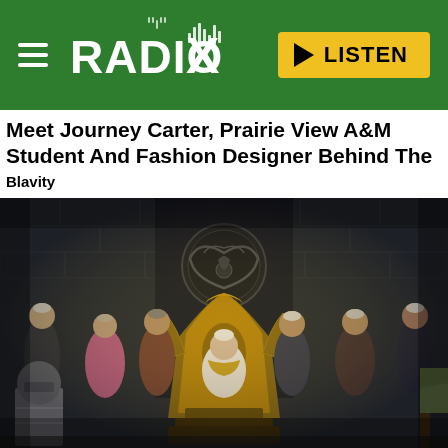Radio X — LISTEN
Meet Journey Carter, Prairie View A&M Student And Fashion Designer Behind The Journey...
Blavity
[Figure (photo): A throne room scene with multiple characters in medieval fantasy costumes. A figure in white and gold sits on an ornate golden throne in the center, flanked by several characters in period attire including armored guards and nobles. A large dragon sigil is mounted on the wall in the background.]